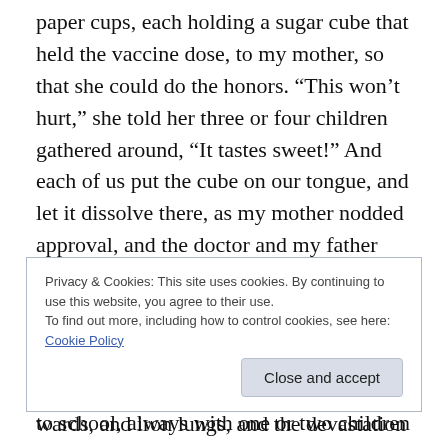paper cups, each holding a sugar cube that held the vaccine dose, to my mother, so that she could do the honors. “This won’t hurt,” she told her three or four children gathered around, “It tastes sweet!” And each of us put the cube on our tongue, and let it dissolve there, as my mother nodded approval, and the doctor and my father grinned.
Of course, at the time, I didn’t realize how important that moment was. I didn’t think of it much at all. Even later when I went to school, always with one or two children
Privacy & Cookies: This site uses cookies. By continuing to use this website, you agree to their use.
To find out more, including how to control cookies, see here: Cookie Policy
wards, and iron lungs, and the devastation the disease